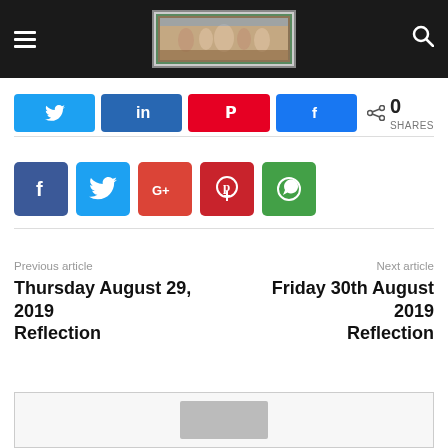[Figure (screenshot): Website navigation header with dark background, hamburger menu icon on left, religious painting logo (Last Supper) in center, search icon on right]
[Figure (infographic): Social share buttons row: Twitter (blue), LinkedIn (dark blue), Pinterest (red), Facebook (blue), followed by share count showing 0 SHARES]
[Figure (infographic): Second row of social share icon squares: Facebook (dark blue), Twitter (light blue), Google+ (orange-red), Pinterest (red), WhatsApp (green)]
Previous article
Thursday August 29, 2019 Reflection
Next article
Friday 30th August 2019 Reflection
[Figure (screenshot): Partial bottom box with a gray avatar/image placeholder]